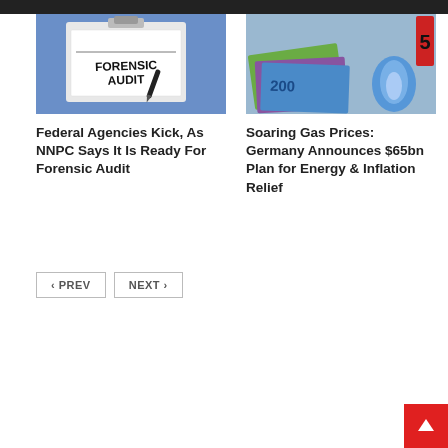[Figure (photo): Clipboard with 'FORENSIC AUDIT' text, pen on top, blue background]
[Figure (photo): Euro banknotes (100, 500 denominations) with a blue gas flame and clock in background]
Federal Agencies Kick, As NNPC Says It Is Ready For Forensic Audit
Soaring Gas Prices: Germany Announces $65bn Plan for Energy & Inflation Relief
< PREV   NEXT >